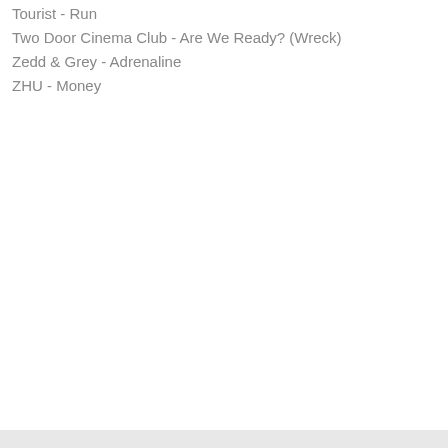Tourist - Run
Two Door Cinema Club - Are We Ready? (Wreck)
Zedd & Grey - Adrenaline
ZHU - Money